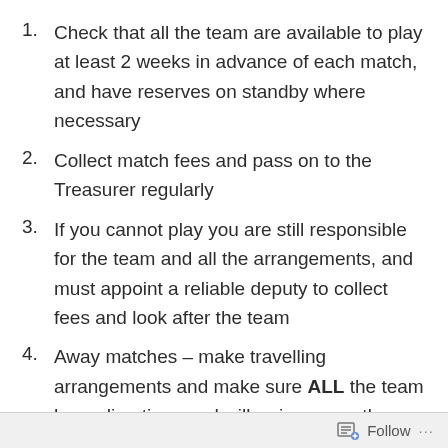Check that all the team are available to play at least 2 weeks in advance of each match, and have reserves on standby where necessary
Collect match fees and pass on to the Treasurer regularly
If you cannot play you are still responsible for the team and all the arrangements, and must appoint a reliable deputy to collect fees and look after the team
Away matches – make travelling arrangements and make sure ALL the team have directions and will arrive promptly
Follow ...